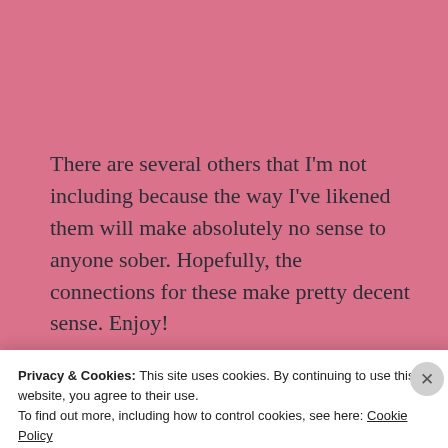There are several others that I'm not including because the way I've likened them will make absolutely no sense to anyone sober. Hopefully, the connections for these make pretty decent sense. Enjoy!
Advertisements
Privacy & Cookies: This site uses cookies. By continuing to use this website, you agree to their use.
To find out more, including how to control cookies, see here: Cookie Policy
Close and accept